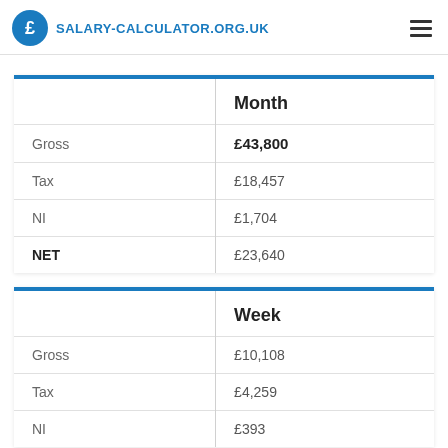SALARY-CALCULATOR.ORG.UK
|  | Month |
| --- | --- |
| Gross | £43,800 |
| Tax | £18,457 |
| NI | £1,704 |
| NET | £23,640 |
|  | Week |
| --- | --- |
| Gross | £10,108 |
| Tax | £4,259 |
| NI | £393 |